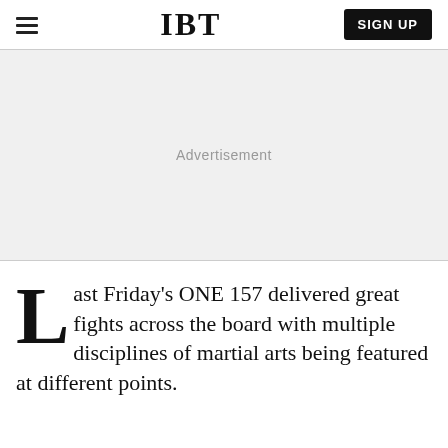IBT | SIGN UP
[Figure (other): Advertisement placeholder area with light gray background]
Last Friday's ONE 157 delivered great fights across the board with multiple disciplines of martial arts being featured at different points.